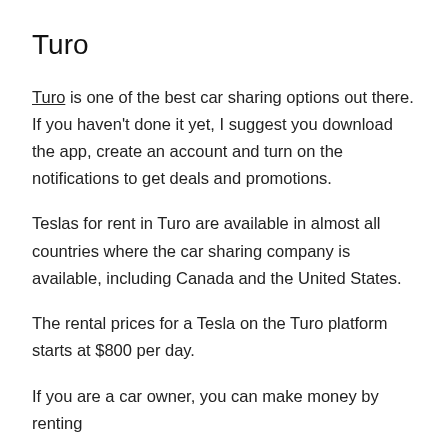Turo
Turo is one of the best car sharing options out there. If you haven't done it yet, I suggest you download the app, create an account and turn on the notifications to get deals and promotions.
Teslas for rent in Turo are available in almost all countries where the car sharing company is available, including Canada and the United States.
The rental prices for a Tesla on the Turo platform starts at $800 per day.
If you are a car owner, you can make money by renting out your Tesla through the Turo platform.